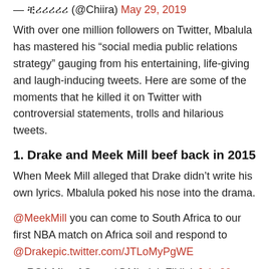— ቺሪሪሪሪሪ (@Chiira) May 29, 2019
With over one million followers on Twitter, Mbalula has mastered his “social media public relations strategy” gauging from his entertaining, life-giving and laugh-inducing tweets. Here are some of the moments that he killed it on Twitter with controversial statements, trolls and hilarious tweets.
1. Drake and Meek Mill beef back in 2015
When Meek Mill alleged that Drake didn’t write his own lyrics. Mbalula poked his nose into the drama.
@MeekMill you can come to South Africa to our first NBA match on Africa soil and respond to @Drakepic.twitter.com/JTLoMyPgWE
— RSA Min of Sport (@MbalulaFikile) July 29, 2015